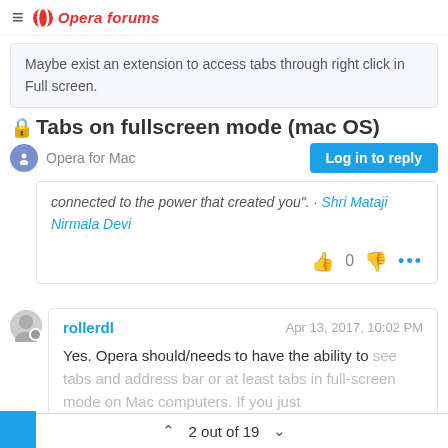Opera forums
Maybe exist an extension to access tabs through right click in Full screen.
Tabs on fullscreen mode (mac OS)
Opera for Mac
Log in to reply
connected to the power that created you". · Shri Mataji Nirmala Devi
rollerdl  Apr 13, 2017, 10:02 PM
Yes. Opera should/needs to have the ability to see tabs and address bar or at least tabs in full-screen mode on Mac computers. If you just
2 out of 19